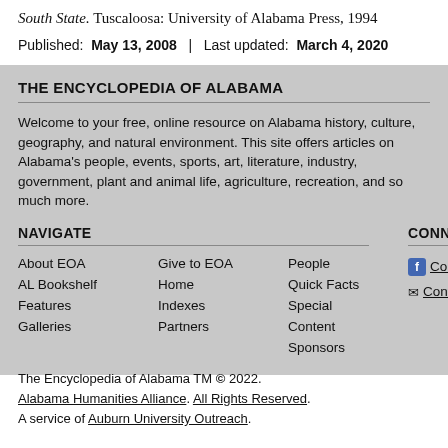South State. Tuscaloosa: University of Alabama Press, 1994
Published: May 13, 2008 | Last updated: March 4, 2020
THE ENCYCLOPEDIA OF ALABAMA
Welcome to your free, online resource on Alabama history, culture, geography and natural environment. This site offers articles on Alabama's people, events, sports, art, literature, industry, government, plant and animal life, agriculture, recreation, and so much more.
NAVIGATE
About EOA
Give to EOA
People
AL Bookshelf
Home
Quick Facts
Features
Indexes
Special
Galleries
Partners
Content
Sponsors
CONNECT
Connect on Facebook
Contact EOA
The Encyclopedia of Alabama TM © 2022. Alabama Humanities Alliance. All Rights Reserved. A service of Auburn University Outreach.